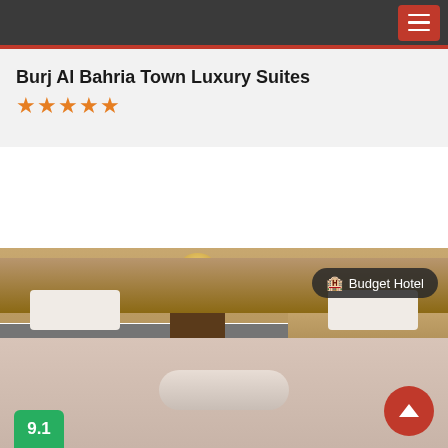Navigation bar with hamburger menu
Burj Al Bahria Town Luxury Suites
★★★★★
from Rs 9,915
View Deal
[Figure (photo): Hotel room photo showing a bed with white pillows and rolled towels, warm lighting, Budget Hotel badge overlay, rating badge 9.1, and scroll-up button]